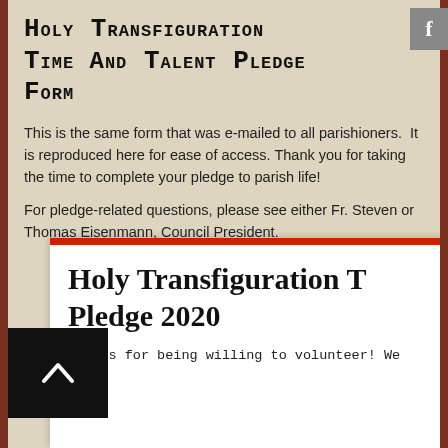[Figure (logo): Facebook badge icon, grey square with white letter f]
Holy Transfiguration Time and Talent Pledge Form
This is the same form that was e-mailed to all parishioners.  It is reproduced here for ease of access.  Thank you for taking the time to complete your pledge to parish life!
For pledge-related questions, please see either Fr. Steven or Thomas Eisenmann, Council President.
[Figure (screenshot): Embedded white card with red top border showing Holy Transfiguration T Pledge 2020 heading and partial text]
Holy Transfiguration T Pledge 2020
Thanks for being willing to volunteer! We won't